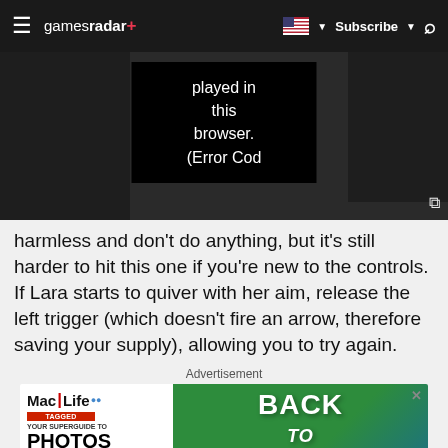gamesradar+ | Subscribe | Search
[Figure (screenshot): Video player with error message reading 'played in this browser. (Error Cod' on a dark background]
harmless and don't do anything, but it's still harder to hit this one if you're new to the controls. If Lara starts to quiver with her aim, release the left trigger (which doesn't fire an arrow, therefore saving your supply), allowing you to try again.
Advertisement
[Figure (screenshot): Mac Life magazine ad with 'Back to School' promotional banner in green and blue colors]